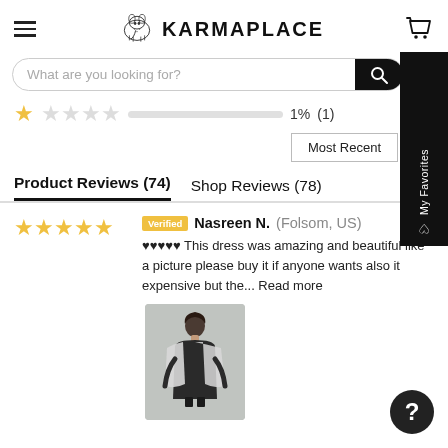[Figure (logo): KarmaPlace logo with elephant illustration and text KARMAPLACE]
[Figure (screenshot): Search bar with placeholder text 'What are you looking for?' and black search button]
1 star rating bar: 1% (1)
Most Recent
Product Reviews (74)   Shop Reviews (78)
5 stars — Verified Nasreen N. (Folsom, US) — ♥♥♥♥♥ This dress was amazing and beautiful like a picture please buy it if anyone wants also it expensive but the... Read more
[Figure (photo): Photo of a woman wearing a dark dress with a light grey dupatta/shawl]